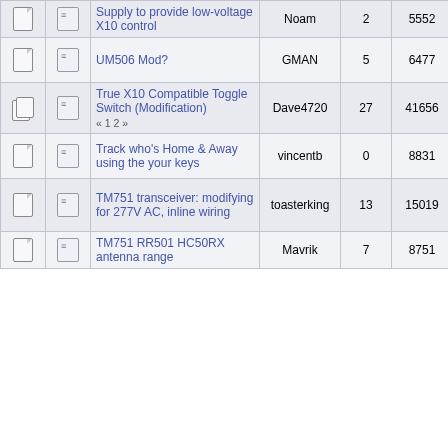|  |  | Topic | Author | Replies | Views | Last Post |
| --- | --- | --- | --- | --- | --- | --- |
| [icon] | [icon] | Supply to provide low-voltage X10 control | Noam | 2 | 5552 | 22, 2011, 01:10:37 PM by Noam |
| [icon] | [icon] | UM506 Mod? | GMAN | 5 | 6477 | January 03, 2012, 06:06:11 AM by Brian H |
| [icon] | [icon] | True X10 Compatible Toggle Switch (Modification) « 1 2 » | Dave4720 | 27 | 41656 | April 18, 2021, 02:49:21 AM by npaisnel |
| [icon] | [icon] | Track who's Home & Away using the your keys | vincentb | 0 | 8831 | April 10, 2008, 12:13:46 AM by vincentb |
| [icon] | [icon] | TM751 transceiver: modifying for 277V AC, inline wiring | toasterking | 13 | 15019 | September 12, 2015, 06:06:52 AM by Brian H |
| [icon] | [icon] | TM751 RR501 HC50RX antenna range | Mavrik | 7 | 8751 | June 21, 2011, 01:46:27 |